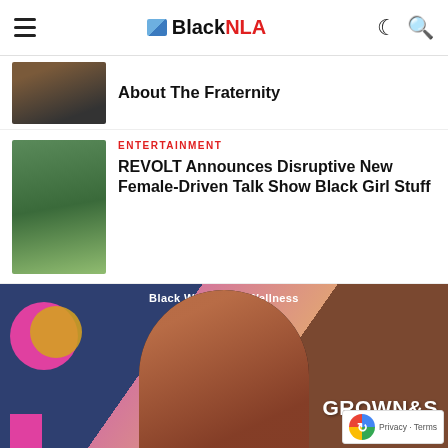BlackNLA
About The Fraternity
ENTERTAINMENT
REVOLT Announces Disruptive New Female-Driven Talk Show Black Girl Stuff
[Figure (photo): Black Women for Wellness promotional banner featuring a woman in a black top with text GROWN&S and Embrace your B, on a colorful blue, pink, and brown geometric background]